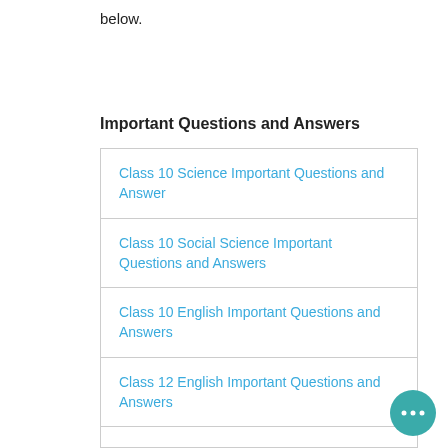below.
Important Questions and Answers
| Class 10 Science Important Questions and Answer |
| Class 10 Social Science Important Questions and Answers |
| Class 10 English Important Questions and Answers |
| Class 12 English Important Questions and Answers |
|  |